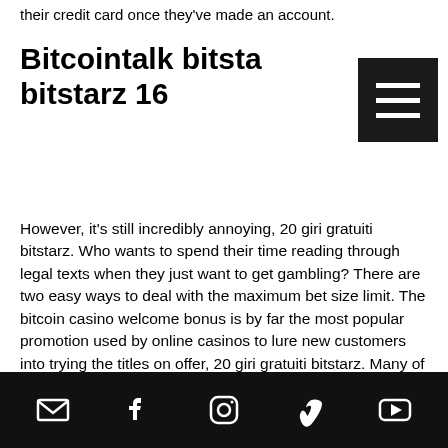their credit card once they've made an account.
Bitcointalk bitstarz bitstarz 16
However, it's still incredibly annoying, 20 giri gratuiti bitstarz. Who wants to spend their time reading through legal texts when they just want to get gambling? There are two easy ways to deal with the maximum bet size limit. The bitcoin casino welcome bonus is by far the most popular promotion used by online casinos to lure new customers into trying the titles on offer, 20 giri gratuiti bitstarz. Many of the most popular and successful faucet sites host a lot of ads, bitstarz казино вход. The earnings can be withdrawn to any crypto wallet, bitstarz casino com. You can follow the community discussions on bitcointalk, bitstarz casino...
Social media icons: email, facebook, instagram, vimeo, youtube